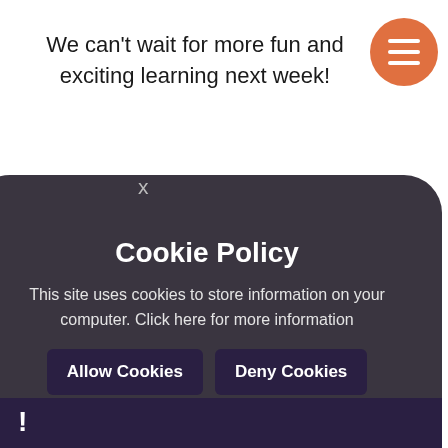We can't wait for more fun and exciting learning next week!
[Figure (other): Orange circular hamburger menu button with three white lines]
[Figure (screenshot): Dark rounded cookie policy popup dialog with close X, title, body text, and two buttons]
Cookie Policy
This site uses cookies to store information on your computer. Click here for more information
Allow Cookies
Deny Cookies